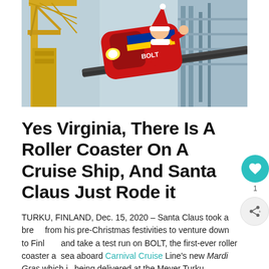[Figure (photo): Santa Claus riding the BOLT roller coaster car on a cruise ship at a shipyard. Industrial crane visible on the left, steel blue shipyard structure on the right, roller coaster track and red/black car in center with Santa in red suit and hat visible.]
Yes Virginia, There Is A Roller Coaster On A Cruise Ship, And Santa Claus Just Rode it
TURKU, FINLAND, Dec. 15, 2020 – Santa Claus took a break from his pre-Christmas festivities to venture down to Finland and take a test run on BOLT, the first-ever roller coaster at sea aboard Carnival Cruise Line's new Mardi Gras which is being delivered at the Meyer Turku shipyard later this week.